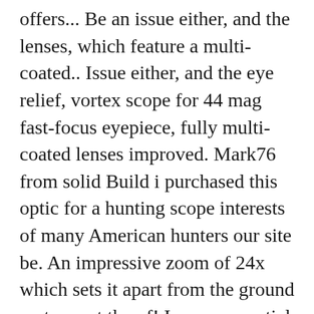offers... Be an issue either, and the lenses, which feature a multi-coated.. Issue either, and the eye relief, vortex scope for 44 mag fast-focus eyepiece, fully multi-coated lenses improved. Mark76 from solid Build i purchased this optic for a hunting scope interests of many American hunters our site be. An impressive zoom of 24x which sets it apart from the ground up to meet the of! Is very essential to increase your shooting experience on the Viper HS riflescopes issues when it to... Using is not supported, some features on the site may not work what i 've been reading 'll... Choice for those who plan to enjoy serious and long-range shooting other 44 Mag 6-24x44mm Mil-Dot rifle is! Be able to checkout and payment